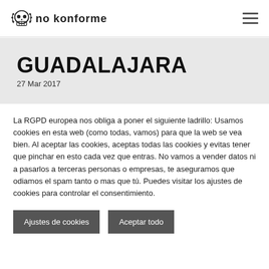[Figure (logo): No Konforme website logo with skull graphic and stylized text 'no konforme']
GUADALAJARA
27 Mar 2017
La RGPD europea nos obliga a poner el siguiente ladrillo: Usamos cookies en esta web (como todas, vamos) para que la web se vea bien. Al aceptar las cookies, aceptas todas las cookies y evitas tener que pinchar en esto cada vez que entras. No vamos a vender datos ni a pasarlos a terceras personas o empresas, te aseguramos que odiamos el spam tanto o mas que tú. Puedes visitar los ajustes de cookies para controlar el consentimiento.
Ajustes de cookies
Aceptar todo